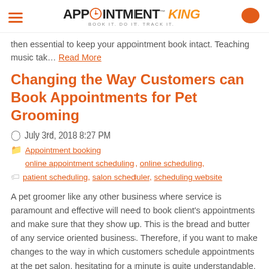Appointment King — BOOK IT. DO IT. TRACK IT.
then essential to keep your appointment book intact. Teaching music tak… Read More
Changing the Way Customers can Book Appointments for Pet Grooming
July 3rd, 2018 8:27 PM
Appointment booking, online appointment scheduling, online scheduling, patient scheduling, salon scheduler, scheduling website
A pet groomer like any other business where service is paramount and effective will need to book client's appointments and make sure that they show up. This is the bread and butter of any service oriented business. Therefore, if you want to make changes to the way in which customers schedule appointments at the pet salon, hesitating for a minute is quite understandable, but do give it some consi… Read More